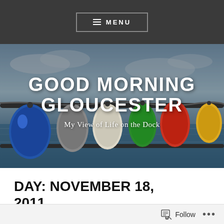≡ MENU
[Figure (photo): Hero banner photo showing colorful buoys/fenders hanging on a dock railing, with water and boats in the background. Overlaid with the blog title and subtitle.]
GOOD MORNING GLOUCESTER
My View of Life on the Dock
DAY: NOVEMBER 18, 2011
Follow ...